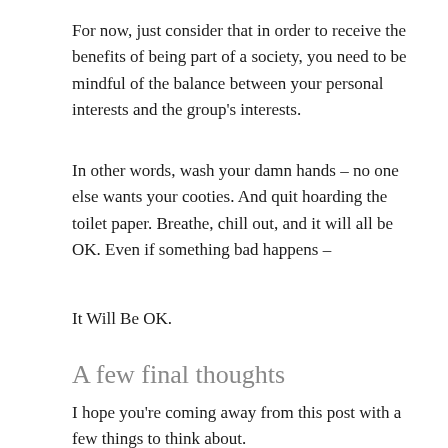For now, just consider that in order to receive the benefits of being part of a society, you need to be mindful of the balance between your personal interests and the group's interests.
In other words, wash your damn hands – no one else wants your cooties. And quit hoarding the toilet paper. Breathe, chill out, and it will all be OK. Even if something bad happens –
It Will Be OK.
A few final thoughts
I hope you're coming away from this post with a few things to think about.
My i i t f d i t d th d b l